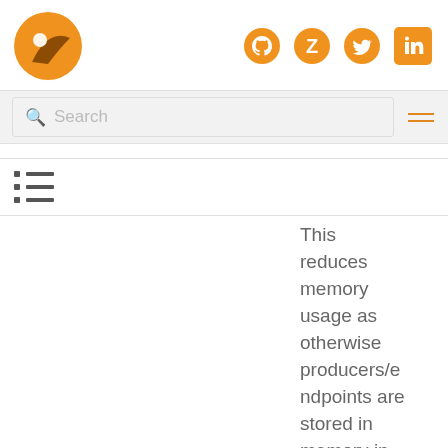[Figure (logo): Orange fox/bird logo]
[Figure (logo): Social media icons: GitHub, Z, Twitter, LinkedIn in orange]
[Figure (screenshot): Search bar with magnifying glass icon and placeholder text 'Search', plus hamburger menu icon]
[Figure (other): Table of contents icon (bullet list)]
This reduces memory usage as otherwise producers/endpoints are stored in memory in the caches. However if there are a